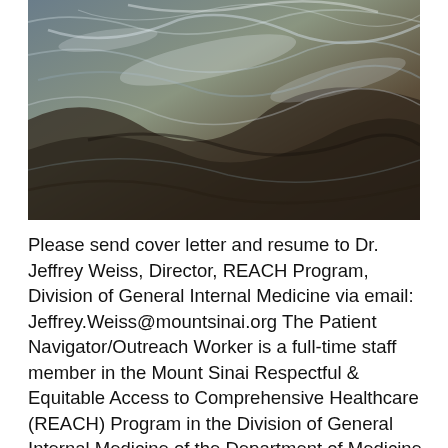[Figure (photo): Close-up abstract photograph of water surface or wet rocky terrain with light reflections and textures in muted blue, grey, and brown tones.]
Please send cover letter and resume to Dr. Jeffrey Weiss, Director, REACH Program, Division of General Internal Medicine via email: Jeffrey.Weiss@mountsinai.org The Patient Navigator/Outreach Worker is a full-time staff member in the Mount Sinai Respectful & Equitable Access to Comprehensive Healthcare (REACH) Program in the Division of General Internal Medicine of the Department of Medicine The pilot